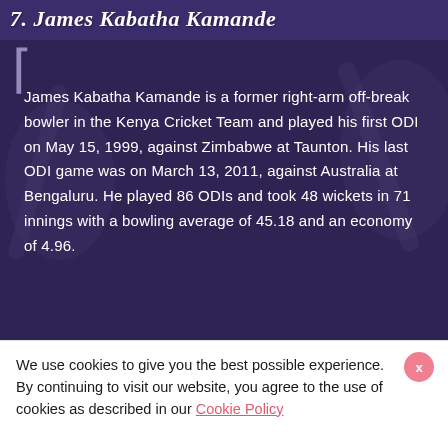7. James Kabatha Kamande
James Kabatha Kamande is a former right-arm off-break bowler in the Kenya Cricket Team and played his first ODI on May 15, 1999, against Zimbabwe at Taunton. His last ODI game was on March 13, 2011, against Australia at Bengaluru. He played 86 ODIs and took 48 wickets in 71 innings with a bowling average of 45.18 and an economy of 4.96.
We use cookies to give you the best possible experience. By continuing to visit our website, you agree to the use of cookies as described in our Cookie Policy